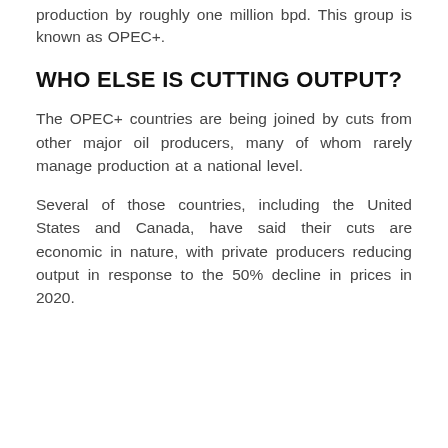production by roughly one million bpd. This group is known as OPEC+.
WHO ELSE IS CUTTING OUTPUT?
The OPEC+ countries are being joined by cuts from other major oil producers, many of whom rarely manage production at a national level.
Several of those countries, including the United States and Canada, have said their cuts are economic in nature, with private producers reducing output in response to the 50% decline in prices in 2020.